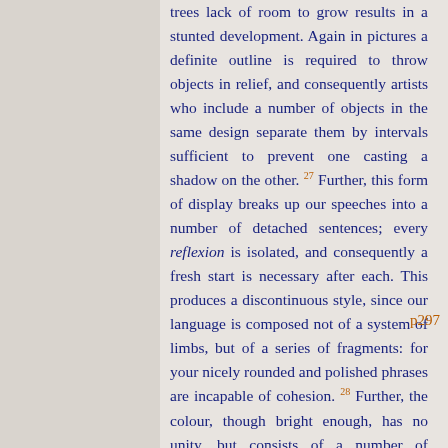trees lack of room to grow results in a stunted development. Again in pictures a definite outline is required to throw objects in relief, and consequently artists who include a number of objects in the same design separate them by intervals sufficient to prevent one casting a shadow on the other. 27 Further, this form of display breaks up our speeches into a number of detached sentences; every reflexion is isolated, and consequently a fresh start is necessary after each. This produces a discontinuous style, since our language is composed not of a system of limbs, but of a series of fragments: for your nicely rounded and polished phrases are incapable of cohesion. 28 Further, the colour, though bright enough, has no unity, but consists of a number of variegated splashes. A purple stripe appropriately
p297